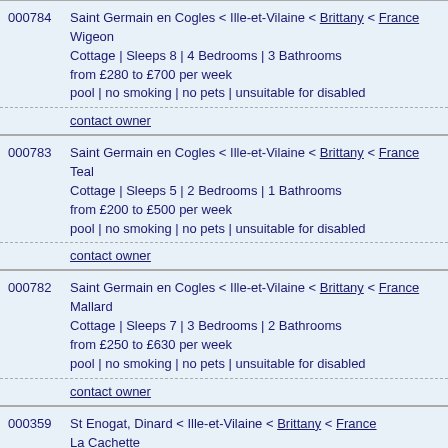000784 Saint Germain en Cogles < Ille-et-Vilaine < Brittany < France
Wigeon
Cottage | Sleeps 8 | 4 Bedrooms | 3 Bathrooms
from £280 to £700 per week
pool | no smoking | no pets | unsuitable for disabled
contact owner
000783 Saint Germain en Cogles < Ille-et-Vilaine < Brittany < France
Teal
Cottage | Sleeps 5 | 2 Bedrooms | 1 Bathrooms
from £200 to £500 per week
pool | no smoking | no pets | unsuitable for disabled
contact owner
000782 Saint Germain en Cogles < Ille-et-Vilaine < Brittany < France
Mallard
Cottage | Sleeps 7 | 3 Bedrooms | 2 Bathrooms
from £250 to £630 per week
pool | no smoking | no pets | unsuitable for disabled
contact owner
000359 St Enogat, Dinard < Ille-et-Vilaine < Brittany < France
La Cachette
Apartment | Sleeps 2 | 1 Bedroom | 1 Bathrooms